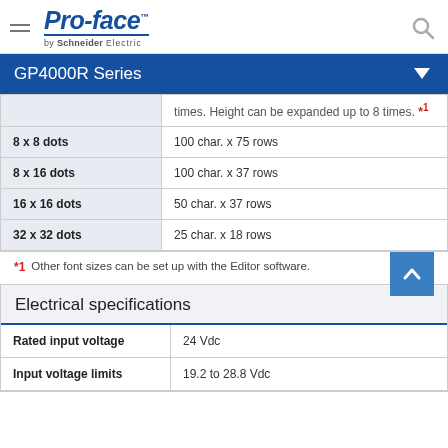Pro-face by Schneider Electric
GP4000R Series
| Font size | Capacity |
| --- | --- |
| (continued) | times. Height can be expanded up to 8 times. *1 |
| 8 x 8 dots | 100 char. x 75 rows |
| 8 x 16 dots | 100 char. x 37 rows |
| 16 x 16 dots | 50 char. x 37 rows |
| 32 x 32 dots | 25 char. x 18 rows |
*1 Other font sizes can be set up with the Editor software.
| Electrical specifications |  |
| --- | --- |
| Rated input voltage | 24 Vdc |
| Input voltage limits | 19.2 to 28.8 Vdc |